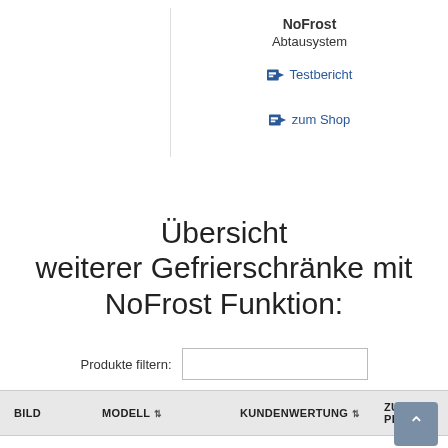NoFrost
Abtausystem
➡ Testbericht
➡ zum Shop
Übersicht weiterer Gefrierschränke mit NoFrost Funktion:
Produkte filtern:
| BILD | MODELL | KUNDENWERTUNG | ZUM PRODU |
| --- | --- | --- | --- |
|  | Siemens GS33NVW30 |  |  |
Siemens GS33NVW30